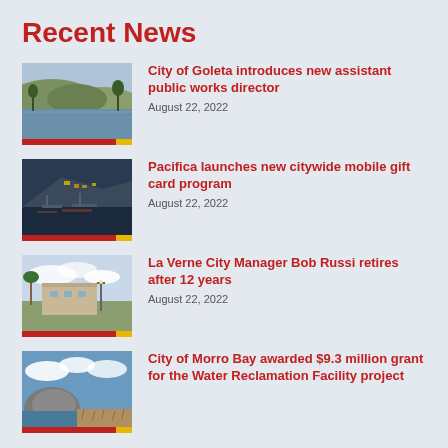Recent News
[Figure (photo): Scenic water/lake view with hills in background]
City of Goleta introduces new assistant public works director
August 22, 2022
[Figure (photo): Marina/harbor at dusk with boats and hillside houses]
Pacifica launches new citywide mobile gift card program
August 22, 2022
[Figure (photo): Building exterior with palm trees and street light]
La Verne City Manager Bob Russi retires after 12 years
August 22, 2022
[Figure (photo): Rocky coastline with cloudy blue sky]
City of Morro Bay awarded $9.3 million grant for the Water Reclamation Facility project